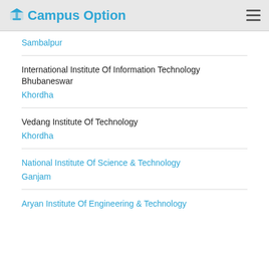Campus Option
Sambalpur
International Institute Of Information Technology Bhubaneswar
Khordha
Vedang Institute Of Technology
Khordha
National Institute Of Science & Technology
Ganjam
Aryan Institute Of Engineering & Technology